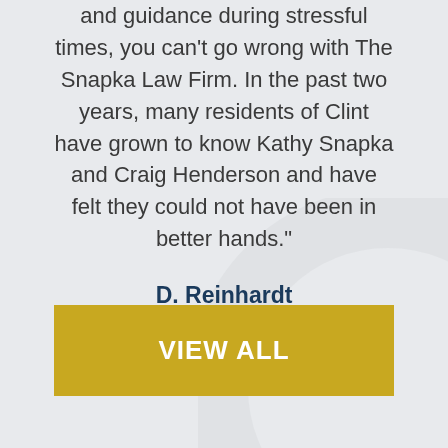and guidance during stressful times, you can't go wrong with The Snapka Law Firm. In the past two years, many residents of Clint have grown to know Kathy Snapka and Craig Henderson and have felt they could not have been in better hands."
D. Reinhardt
[Figure (other): Five gold/yellow star rating icons in a row]
VIEW ALL